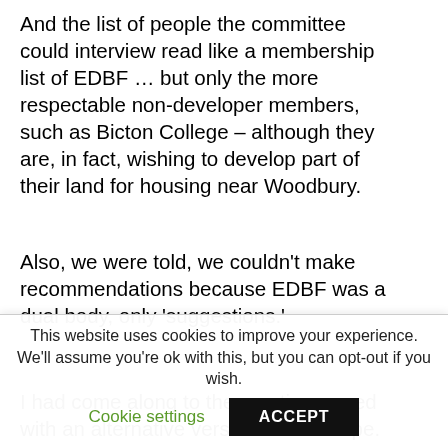And the list of people the committee could interview read like a membership list of EDBF … but only the more respectable non-developer members, such as Bicton College – although they are, in fact, wishing to develop part of their land for housing near Woodbury.
Also, we were told, we couldn't make recommendations because EDBF was a dual body, only 'suggestions.'
I had come along to the meeting armed with an alternative version of the scope.
This website uses cookies to improve your experience. We'll assume you're ok with this, but you can opt-out if you wish.